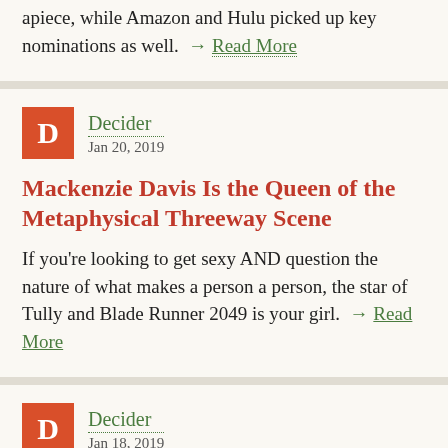apiece, while Amazon and Hulu picked up key nominations as well. → Read More
[Figure (logo): Decider logo: red square with white D]
Decider
Jan 20, 2019
Mackenzie Davis Is the Queen of the Metaphysical Threeway Scene
If you're looking to get sexy AND question the nature of what makes a person a person, the star of Tully and Blade Runner 2049 is your girl. → Read More
[Figure (logo): Decider logo: red square with white D]
Decider
Jan 18, 2019
'The Old Man & the Gun' Features Robert Redford and Sissy Spacek at Their Most Charming